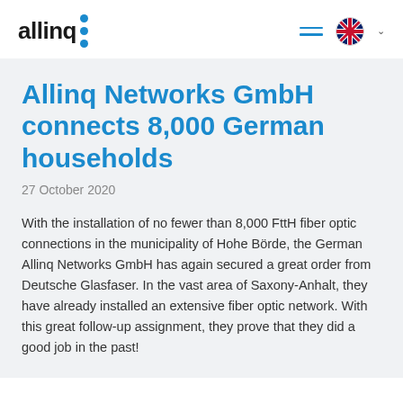allinq
Allinq Networks GmbH connects 8,000 German households
27 October 2020
With the installation of no fewer than 8,000 FttH fiber optic connections in the municipality of Hohe Börde, the German Allinq Networks GmbH has again secured a great order from Deutsche Glasfaser. In the vast area of Saxony-Anhalt, they have already installed an extensive fiber optic network. With this great follow-up assignment, they prove that they did a good job in the past!